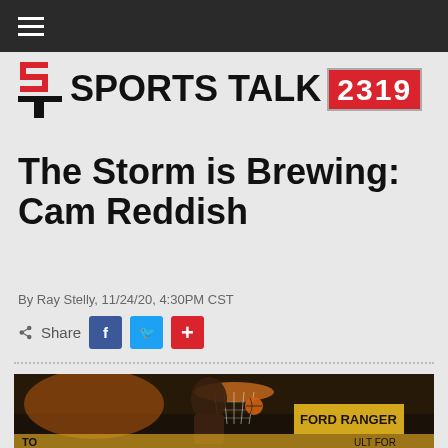≡ (hamburger menu)
[Figure (logo): Sports Talk 2319 logo with stylized ST icon and red badge with number 2319]
The Storm is Brewing: Cam Reddish
By Ray Stelly, 11/24/20, 4:30PM CST
Share [Facebook] [Twitter] [+]
[Figure (photo): Basketball player dunking through the hoop in an arena, Ford Ranger advertisement visible in background]